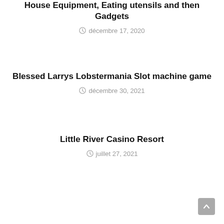House Equipment, Eating utensils and then Gadgets
décembre 17, 2020
Blessed Larrys Lobstermania Slot machine game
décembre 30, 2021
Little River Casino Resort
juillet 27, 2021